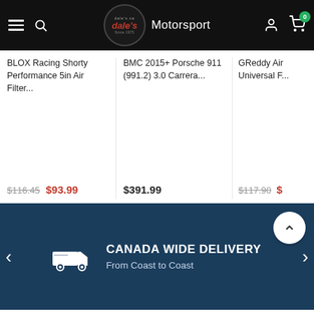[Figure (screenshot): Dale's Motorsport website navigation bar with hamburger menu, search icon, logo, brand name, user icon, and cart icon with badge showing 0]
BLOX Racing Shorty Performance 5in Air Filter...
$116.45  $93.99
BMC 2015+ Porsche 911 (991.2) 3.0 Carrera...
$391.99
GReddy Air Universal F...
$117.90  $...
CANADA WIDE DELIVERY
From Coast to Coast
JOIN IN OUR MAILING LIST
ADD TO CART
Need Help Finding the Correct Part?